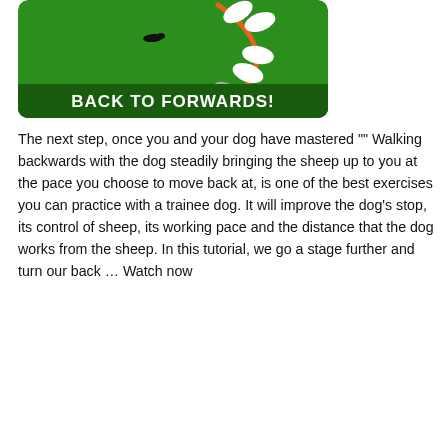[Figure (illustration): A green field/grass diagram showing a dog herding sheep. An orange curved arc, several white oval sheep shapes, and a small dark dog shape are visible on a green background. At the bottom of the image is a dark green banner with bold white text reading 'BACK TO FORWARDS!']
The next step, once you and your dog have mastered "" Walking backwards with the dog steadily bringing the sheep up to you at the pace you choose to move back at, is one of the best exercises you can practice with a trainee dog. It will improve the dog's stop, its control of sheep, its working pace and the distance that the dog works from the sheep. In this tutorial, we go a stage further and turn our back … Watch now